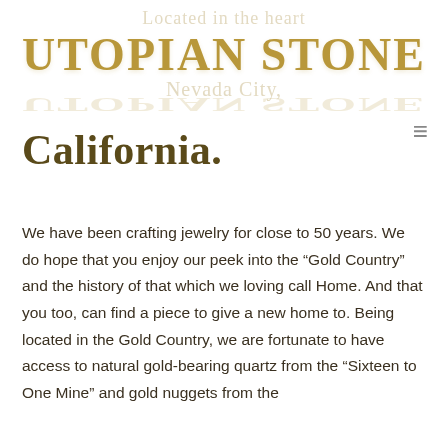[Figure (logo): Utopian Stone logo in gold serif font with reflection, overlaid on faded text reading 'Located in the heart Nevada City']
California.
We have been crafting jewelry for close to 50 years. We do hope that you enjoy our peek into the "Gold Country" and the history of that which we loving call Home. And that you too, can find a piece to give a new home to. Being located in the Gold Country, we are fortunate to have access to natural gold-bearing quartz from the "Sixteen to One Mine" and gold nuggets from the